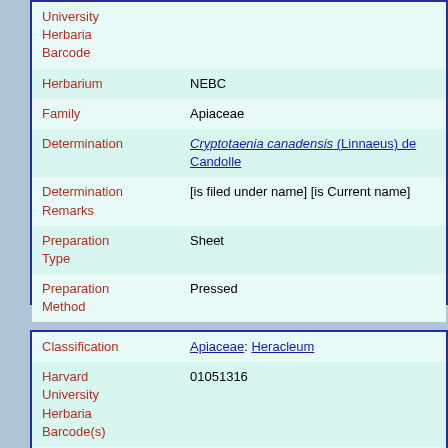| Field | Value |
| --- | --- |
| University Herbaria Barcode |  |
| Herbarium | NEBC |
| Family | Apiaceae |
| Determination | Cryptotaenia canadensis (Linnaeus) de Candolle |
| Determination Remarks | [is filed under name] [is Current name] |
| Preparation Type | Sheet |
| Preparation Method | Pressed |
| Field | Value |
| --- | --- |
| Classification | Apiaceae: Heracleum |
| Harvard University Herbaria Barcode(s) | 01051316 |
| Collector | M. C. Rodman |
| Country | United States of America |
| State | Massachusetts |